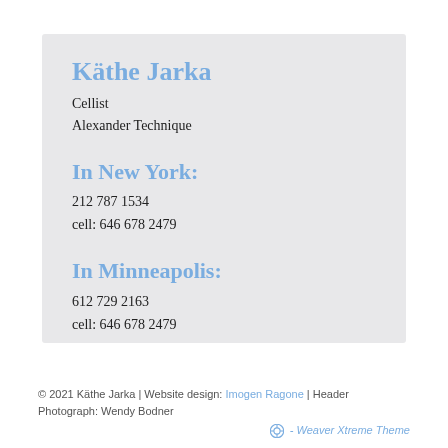Käthe Jarka
Cellist
Alexander Technique
In New York:
212 787 1534
cell: 646 678 2479
In Minneapolis:
612 729 2163
cell: 646 678 2479
© 2021 Käthe Jarka | Website design: Imogen Ragone | Header Photograph: Wendy Bodner
- Weaver Xtreme Theme